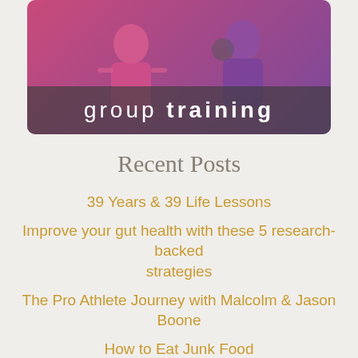[Figure (photo): Group training photo showing two women exercising in a gym — one in pink, one in purple — with a dark semi-transparent banner overlay reading 'group training']
Recent Posts
39 Years & 39 Life Lessons
Improve your gut health with these 5 research-backed strategies
The Pro Athlete Journey with Malcolm & Jason Boone
How to Eat Junk Food
My Million Dollar Car